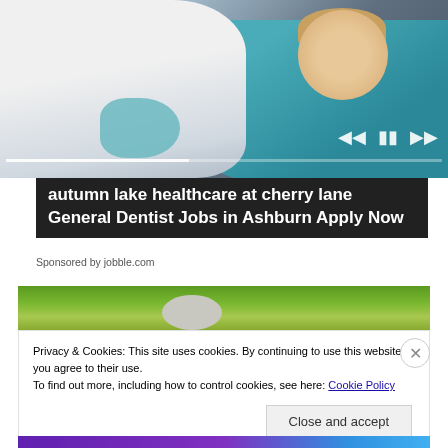[Figure (photo): Dental office photo showing a dentist in white coat with blue gloves and a young smiling boy seated in a teal dental chair, with video player controls and progress bar overlaid]
autumn lake healthcare at cherry lane General Dentist Jobs in Ashburn Apply Now
Sponsored by jobble.com
[Figure (photo): Outdoor garden landscape photo with green grass and stone]
Privacy & Cookies: This site uses cookies. By continuing to use this website, you agree to their use.
To find out more, including how to control cookies, see here: Cookie Policy